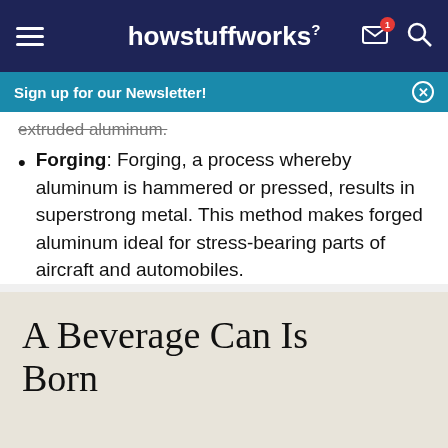howstuffworks
Sign up for our Newsletter!
extruded aluminum.
Forging: Forging, a process whereby aluminum is hammered or pressed, results in superstrong metal. This method makes forged aluminum ideal for stress-bearing parts of aircraft and automobiles.
A Beverage Can Is Born
Get the HowStuffWorks Newsletter!